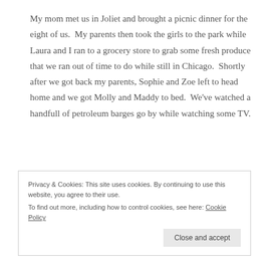My mom met us in Joliet and brought a picnic dinner for the eight of us.  My parents then took the girls to the park while Laura and I ran to a grocery store to grab some fresh produce that we ran out of time to do while still in Chicago.  Shortly after we got back my parents, Sophie and Zoe left to head home and we got Molly and Maddy to bed.  We've watched a handfull of petroleum barges go by while watching some TV.
Privacy & Cookies: This site uses cookies. By continuing to use this website, you agree to their use.
To find out more, including how to control cookies, see here: Cookie Policy